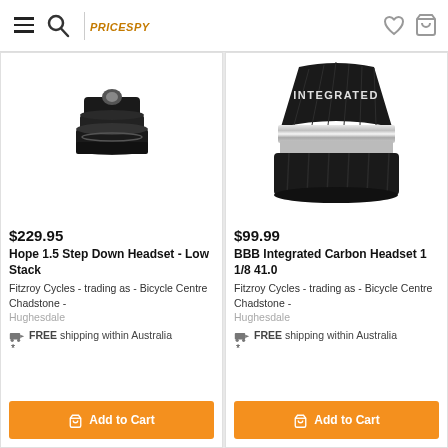Navigation bar with menu, search, logo, wishlist and cart icons
[Figure (photo): Black Hope 1.5 Step Down Headset - Low Stack bicycle headset component photographed on white background]
$229.95
Hope 1.5 Step Down Headset - Low Stack
Fitzroy Cycles - trading as - Bicycle Centre Chadstone -
Hughesdale
FREE shipping within Australia *
Add to Cart
[Figure (photo): Black BBB Integrated Carbon Headset 1 1/8 41.0 bicycle headset component with chrome ring and INTEGRATED text, photographed on white background]
$99.99
BBB Integrated Carbon Headset 1 1/8 41.0
Fitzroy Cycles - trading as - Bicycle Centre Chadstone -
Hughesdale
FREE shipping within Australia *
Add to Cart